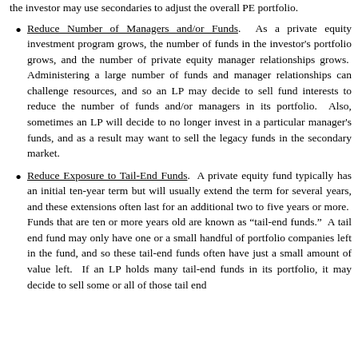the investor may use secondaries to adjust the overall PE portfolio.
Reduce Number of Managers and/or Funds. As a private equity investment program grows, the number of funds in the investor's portfolio grows, and the number of private equity manager relationships grows. Administering a large number of funds and manager relationships can challenge resources, and so an LP may decide to sell fund interests to reduce the number of funds and/or managers in its portfolio. Also, sometimes an LP will decide to no longer invest in a particular manager's funds, and as a result may want to sell the legacy funds in the secondary market.
Reduce Exposure to Tail-End Funds. A private equity fund typically has an initial ten-year term but will usually extend the term for several years, and these extensions often last for an additional two to five years or more. Funds that are ten or more years old are known as "tail-end funds." A tail end fund may only have one or a small handful of portfolio companies left in the fund, and so these tail-end funds often have just a small amount of value left. If an LP holds many tail-end funds in its portfolio, it may decide to sell some or all of those tail end